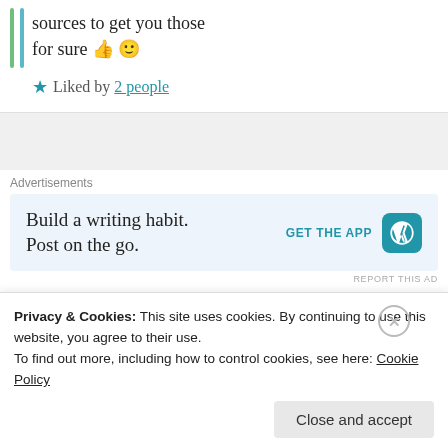sources to get you those for sure 👍 🙂
★ Liked by 2 people
Advertisements
[Figure (screenshot): WordPress app advertisement: 'Build a writing habit. Post on the go.' with GET THE APP button and WordPress logo]
datta
14th May 2021 at 4:43 pm
Privacy & Cookies: This site uses cookies. By continuing to use this website, you agree to their use.
To find out more, including how to control cookies, see here: Cookie Policy
Close and accept